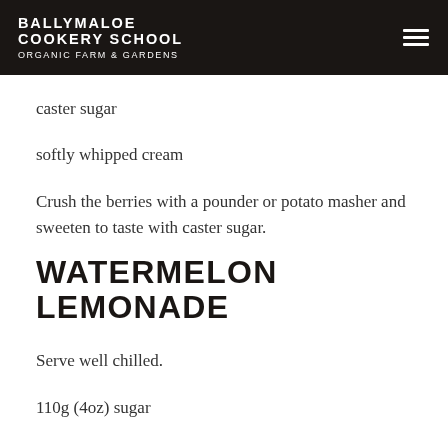BALLYMALOE COOKERY SCHOOL ORGANIC FARM & GARDENS
caster sugar
softly whipped cream
Crush the berries with a pounder or potato masher and sweeten to taste with caster sugar.
WATERMELON LEMONADE
Serve well chilled.
110g (4oz) sugar